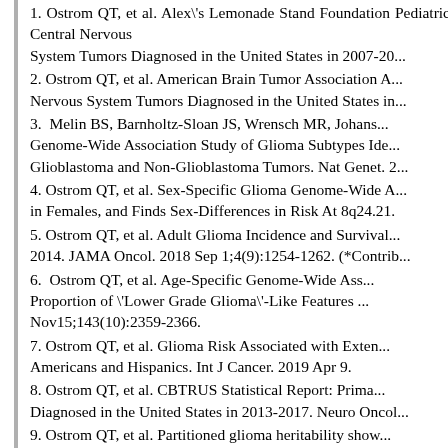1. Ostrom QT, et al. Alex's Lemonade Stand Foundation Pediatric Central Nervous System Tumors Diagnosed in the United States in 2007-20...
2. Ostrom QT, et al. American Brain Tumor Association A... Nervous System Tumors Diagnosed in the United States in...
3. Melin BS, Barnholtz-Sloan JS, Wrensch MR, Johans... Genome-Wide Association Study of Glioma Subtypes Ide... Glioblastoma and Non-Glioblastoma Tumors. Nat Genet. 2...
4. Ostrom QT, et al. Sex-Specific Glioma Genome-Wide A... in Females, and Finds Sex-Differences in Risk At 8q24.21.
5. Ostrom QT, et al. Adult Glioma Incidence and Survival... 2014. JAMA Oncol. 2018 Sep 1;4(9):1254-1262. (*Contrib...
6. Ostrom QT, et al. Age-Specific Genome-Wide Ass... Proportion of 'Lower Grade Glioma'-Like Features ... Nov15;143(10):2359-2366.
7. Ostrom QT, et al. Glioma Risk Associated with Exten... Americans and Hispanics. Int J Cancer. 2019 Apr 9.
8. Ostrom QT, et al. CBTRUS Statistical Report: Prima... Diagnosed in the United States in 2013-2017. Neuro Oncol...
9. Ostrom QT, et al. Partitioned glioma heritability show... Oncol. 2021 Mar 20:noab072.
10. Ostrom QT, et al. Racial/ethnic disparities in trea... glioblastoma in the US. J Neurooncol. 2021 Mar 23.
Selected Presentations (2018+)
1. Ostrom QT, et al. Evaluating Glioma Risk Associated w... and Latinos. Poster presentation at American Associatio...